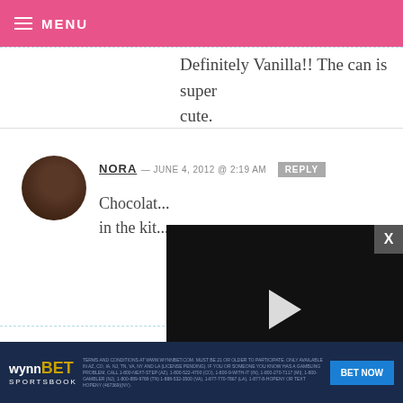MENU
Definitely Vanilla!! The can is super cute.
NORA — JUNE 4, 2012 @ 2:19 AM  REPLY
Chocolat... in the kit...
[Figure (screenshot): Video player overlay with play button, progress bar at 13:52, and controls including mute, CC, grid, settings, and fullscreen buttons]
KRISTIN —
Vanilla!!! :-)
[Figure (other): WynnBET Sportsbook advertisement banner with BET NOW button]